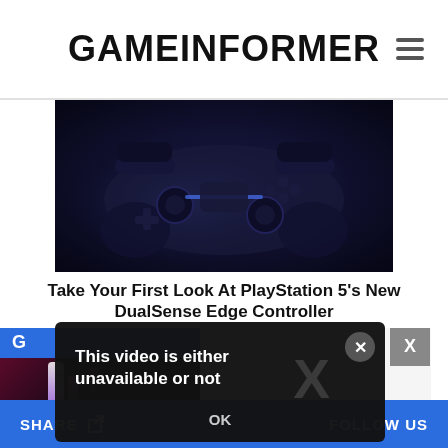GAMEINFORMER
[Figure (photo): Close-up dark photo of a PlayStation 5 DualSense Edge controller against a dark blue background]
Take Your First Look At PlayStation 5's New DualSense Edge Controller
[Figure (screenshot): Video player thumbnail showing colorful abstract purple/pink light streaks on dark background with blue toolbar showing letter G]
[Figure (screenshot): Video error popup dialog on dark background reading: This video is either unavailable or not, with OK button and X close button]
SHARE   FOLLOW US